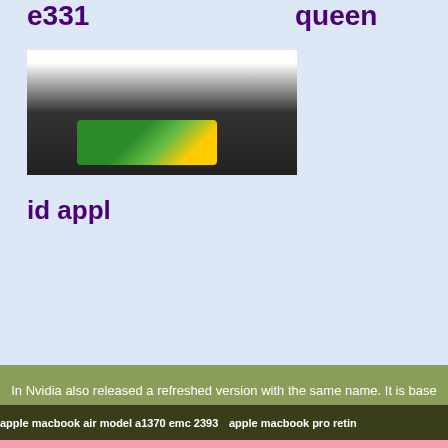e331
queen
[Figure (photo): A handheld gaming or mobile device shown from above with a dark body and colorful screen]
id appl
[Figure (photo): Large green handheld gaming device (LeapFrog or similar) with dark olive green body, circular button, square button cluster, and colorful screen showing green graphics]
In Nvidia also released a refreshed version with the same name. It is base decreased to 11 Gbps leading to a slightly better overall performance features in most games.
apple macbook air model a1370 emc 2393    apple macbook pro retin